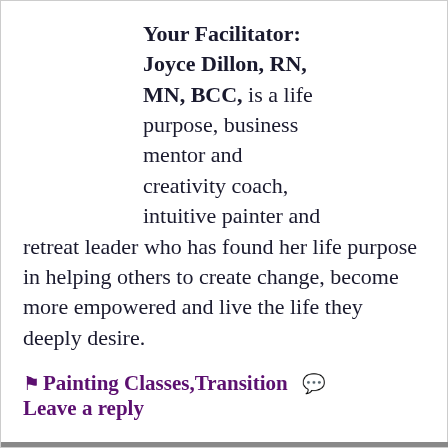Your Facilitator: Joyce Dillon, RN, MN, BCC, is a life purpose, business mentor and creativity coach, intuitive painter and retreat leader who has found her life purpose in helping others to create change, become more empowered and live the life they deeply desire.
Painting Classes, Transition   Leave a reply